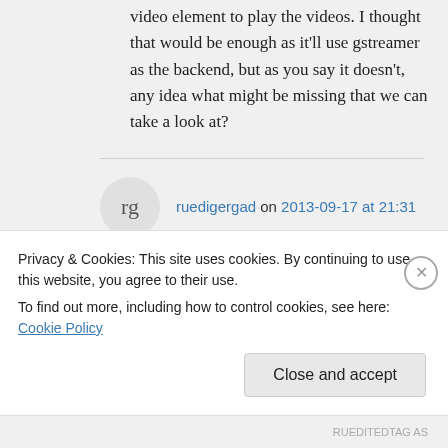video element to play the videos. I thought that would be enough as it'll use gstreamer as the backend, but as you say it doesn't, any idea what might be missing that we can take a look at?
ruedigergad on 2013-09-17 at 21:31
Alright, that's good information. If I
Privacy & Cookies: This site uses cookies. By continuing to use this website, you agree to their use.
To find out more, including how to control cookies, see here: Cookie Policy